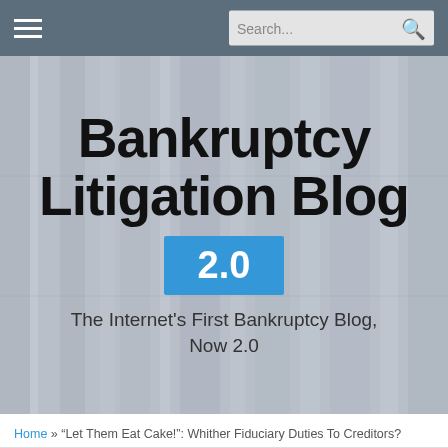Navigation bar with hamburger menu and search box
[Figure (screenshot): Bankruptcy Litigation Blog 2.0 website header with hero image showing bookshelf background, large bold title 'Bankruptcy Litigation Blog', blue badge '2.0', and tagline 'The Internet's First Bankruptcy Blog, Now 2.0']
Bankruptcy Litigation Blog
2.0
The Internet's First Bankruptcy Blog, Now 2.0
Home » "Let Them Eat Cake!": Whither Fiduciary Duties To Creditors?